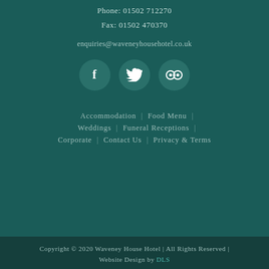Phone: 01502 712270
Fax: 01502 470370
enquiries@waveneyhousehotel.co.uk
[Figure (illustration): Three social media icon circles: Facebook (f), Twitter (bird), TripAdvisor (owl glasses) on dark teal circular backgrounds]
Accommodation  |  Food Menu  |
Weddings  |  Funeral Receptions  |
Corporate  |  Contact Us  |  Privacy & Terms
Copyright © 2020 Waveney House Hotel | All Rights Reserved | Website Design by DLS